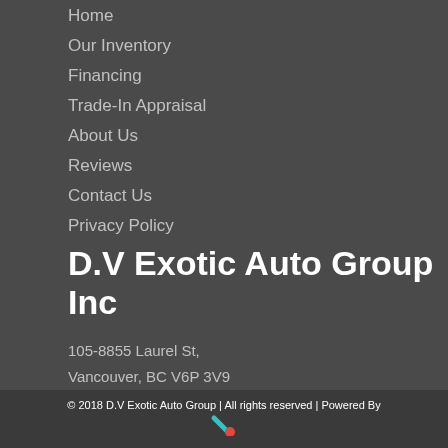Home
Our Inventory
Financing
Trade-In Appraisal
About Us
Reviews
Contact Us
Privacy Policy
D.V Exotic Auto Group Inc
105-8855 Laurel St,
Vancouver, BC V6P 3V9
© 2018 D.V Exotic Auto Group | All rights reserved | Powered By